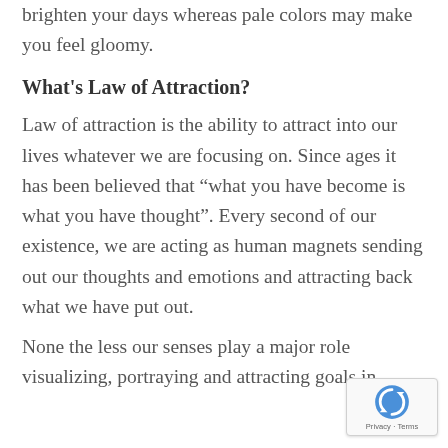brighten your days whereas pale colors may make you feel gloomy.
What’s Law of Attraction?
Law of attraction is the ability to attract into our lives whatever we are focusing on. Since ages it has been believed that “what you have become is what you have thought”. Every second of our existence, we are acting as human magnets sending out our thoughts and emotions and attracting back what we have put out.
None the less our senses play a major role visualizing, portraying and attracting goals in